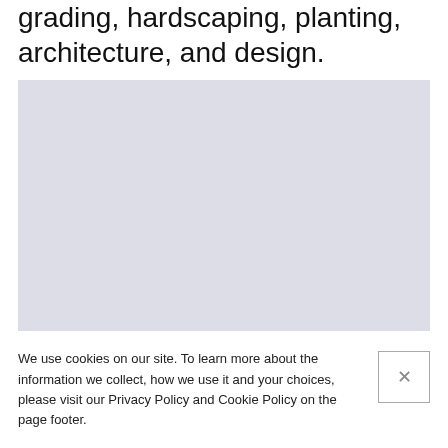grading, hardscaping, planting, architecture, and design.
[Figure (illustration): Large light lavender/grey rectangular placeholder image]
We use cookies on our site. To learn more about the information we collect, how we use it and your choices, please visit our Privacy Policy and Cookie Policy on the page footer.